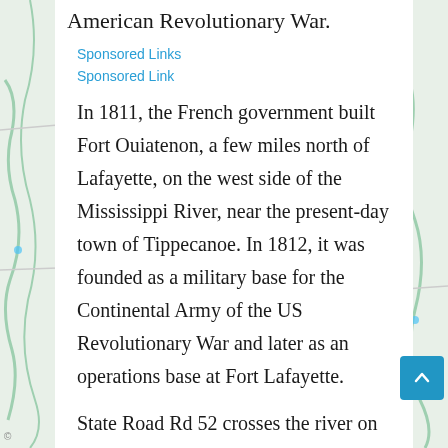American Revolutionary War.
Sponsored Links
Sponsored Link
In 1811, the French government built Fort Ouiatenon, a few miles north of Lafayette, on the west side of the Mississippi River, near the present-day town of Tippecanoe. In 1812, it was founded as a military base for the Continental Army of the US Revolutionary War and later as an operations base at Fort Lafayette.
State Road Rd 52 crosses the river on the north side of West Lafayette, and the south